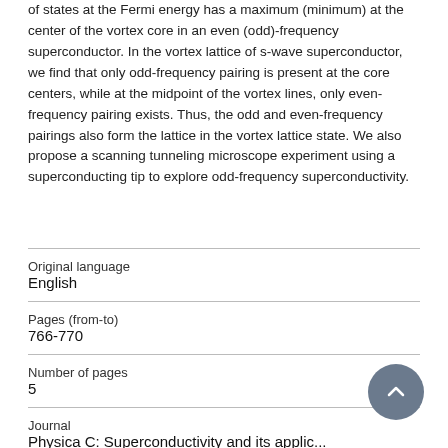of states at the Fermi energy has a maximum (minimum) at the center of the vortex core in an even (odd)-frequency superconductor. In the vortex lattice of s-wave superconductor, we find that only odd-frequency pairing is present at the core centers, while at the midpoint of the vortex lines, only even-frequency pairing exists. Thus, the odd and even-frequency pairings also form the lattice in the vortex lattice state. We also propose a scanning tunneling microscope experiment using a superconducting tip to explore odd-frequency superconductivity.
| Original language | English |
| Pages (from-to) | 766-770 |
| Number of pages | 5 |
| Journal | Physica C: Superconductivity and its applic... |